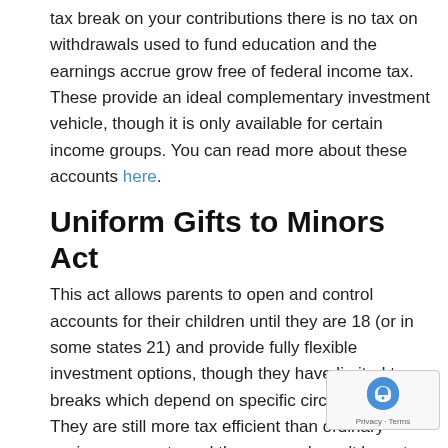tax break on your contributions there is no tax on withdrawals used to fund education and the earnings accrue grow free of federal income tax. These provide an ideal complementary investment vehicle, though it is only available for certain income groups. You can read more about these accounts here.
Uniform Gifts to Minors Act
This act allows parents to open and control accounts for their children until they are 18 (or in some states 21) and provide fully flexible investment options, though they have limited tax breaks which depend on specific circumstance. They are still more tax efficient than ordinary savings accounts and the money doesn't have to be spent on education; as it has been gifted it belongs to the child. They also have a negative impact on financial aid.
U.S. Savings Bonds